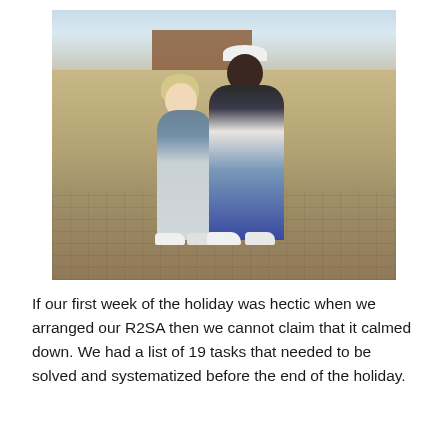[Figure (photo): A couple — a blonde woman in a green jacket and light jeans, and a taller man in a white cap, dark jacket and jeans — standing together on a cobblestone plaza, with a large brick building and waterfront in the background.]
If our first week of the holiday was hectic when we arranged our R2SA then we cannot claim that it calmed down. We had a list of 19 tasks that needed to be solved and systematized before the end of the holiday.